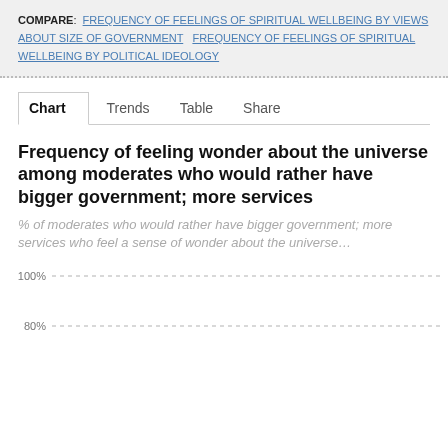COMPARE: FREQUENCY OF FEELINGS OF SPIRITUAL WELLBEING BY VIEWS ABOUT SIZE OF GOVERNMENT   FREQUENCY OF FEELINGS OF SPIRITUAL WELLBEING BY POLITICAL IDEOLOGY
Chart   Trends   Table   Share
Frequency of feeling wonder about the universe among moderates who would rather have bigger government; more services
% of moderates who would rather have bigger government; more services who feel a sense of wonder about the universe...
[Figure (continuous-plot): Partial chart area showing y-axis labels 100% and 80% with dotted gridlines. Chart is cut off at the bottom of the page.]